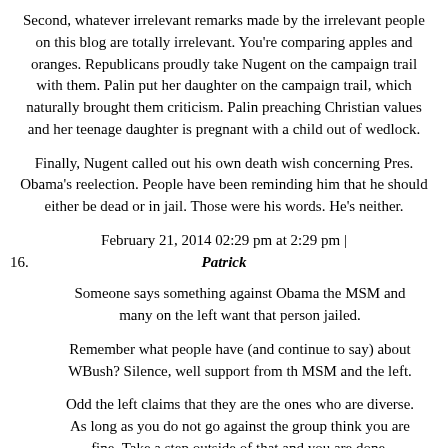Second, whatever irrelevant remarks made by the irrelevant people on this blog are totally irrelevant. You're comparing apples and oranges. Republicans proudly take Nugent on the campaign trail with them. Palin put her daughter on the campaign trail, which naturally brought them criticism. Palin preaching Christian values and her teenage daughter is pregnant with a child out of wedlock.
Finally, Nugent called out his own death wish concerning Pres. Obama's reelection. People have been reminding him that he should either be dead or in jail. Those were his words. He's neither.
February 21, 2014 02:29 pm at 2:29 pm |
16. Patrick
Someone says something against Obama the MSM and many on the left want that person jailed.
Remember what people have (and continue to say) about WBush? Silence, well support from th MSM and the left.
Odd the left claims that they are the ones who are diverse. As long as you do not go against the group think you are fine. Take a step outside of that and you are done.